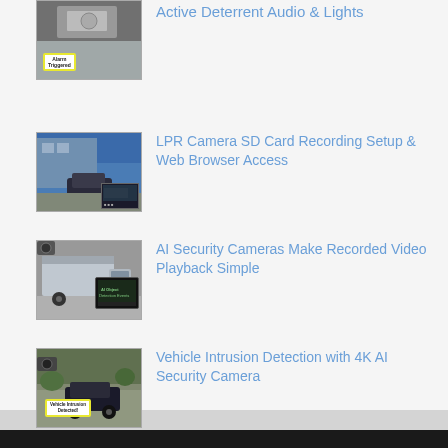Active Deterrent Audio & Lights
LPR Camera SD Card Recording Setup & Web Browser Access
AI Security Cameras Make Recorded Video Playback Simple
Vehicle Intrusion Detection with 4K AI Security Camera